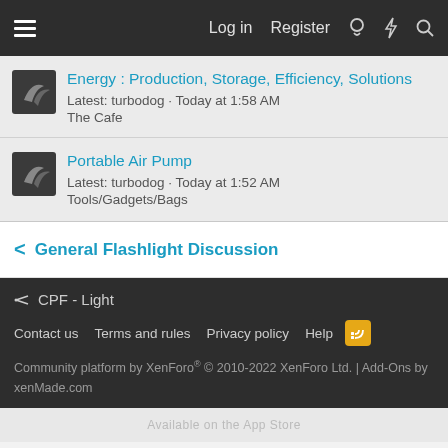Log in  Register
Energy : Production, Storage, Efficiency, Solutions
Latest: turbodog · Today at 1:58 AM
The Cafe
Portable Air Pump
Latest: turbodog · Today at 1:52 AM
Tools/Gadgets/Bags
< General Flashlight Discussion
CPF - Light
Contact us  Terms and rules  Privacy policy  Help
Community platform by XenForo® © 2010-2022 XenForo Ltd. | Add-Ons by xenMade.com
Available on the App Store